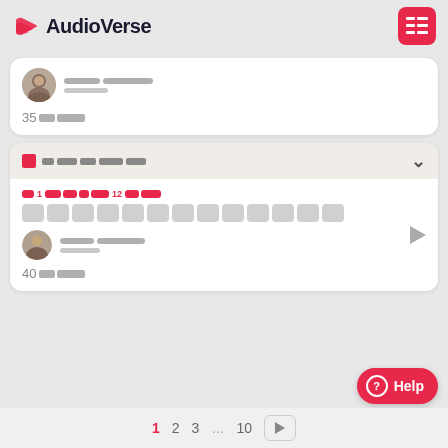AudioVerse
[Figure (screenshot): AudioVerse app listing page showing sermon cards with speaker avatars, text placeholders, play buttons, pagination, and a Help button]
1 2 3 … 10 →